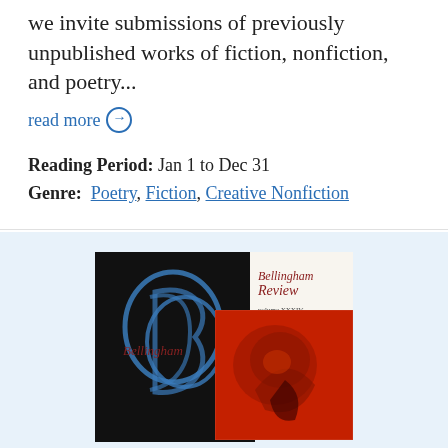We invite submissions of previously unpublished works of fiction, nonfiction, and poetry...
read more →
Reading Period:  Jan 1 to Dec 31
Genre:  Poetry, Fiction, Creative Nonfiction
[Figure (photo): Cover of Bellingham Review literary magazine, volume XXXIV, issue 63. Black panel on left with blue swirl letter B logo and italic red text 'Bellingham Review'. Right side shows journal title and volume info on cream background. Lower right shows a red abstract artwork image overlapping both panels.]